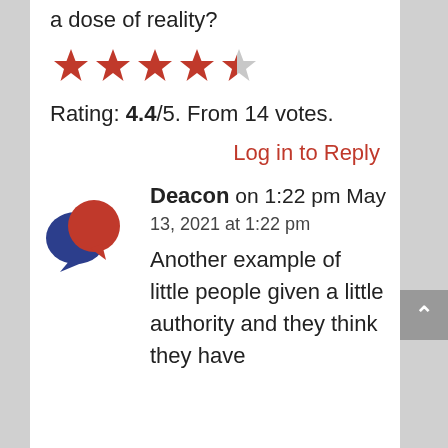a dose of reality?
[Figure (other): 4.4 out of 5 stars — four filled red stars and one partially filled grey star]
Rating: 4.4/5. From 14 votes.
Log in to Reply
[Figure (illustration): Chat bubble icon with a dark blue bubble and a red bubble overlapping]
Deacon on 1:22 pm May 13, 2021 at 1:22 pm
Another example of little people given a little authority and they think they have